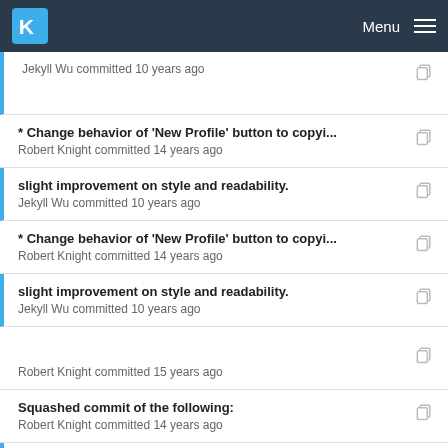KDE Menu
Jekyll Wu committed 10 years ago
* Change behavior of 'New Profile' button to copyi...
Robert Knight committed 14 years ago
slight improvement on style and readability.
Jekyll Wu committed 10 years ago
* Change behavior of 'New Profile' button to copyi...
Robert Knight committed 14 years ago
slight improvement on style and readability.
Jekyll Wu committed 10 years ago
Robert Knight committed 15 years ago
Squashed commit of the following:
Robert Knight committed 14 years ago
* Model life facilitation tool for composition...